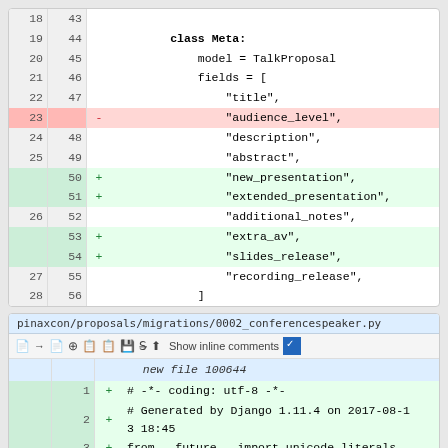[Figure (screenshot): Git diff view showing code changes to a Python file. Lines 18-28 (old) and 43-56 (new) are shown. Line 23 is deleted (audience_level), lines 50-51 add new_presentation and extended_presentation, lines 53-54 add extra_av and slides_release.]
[Figure (screenshot): Git diff view for pinaxcon/proposals/migrations/0002_conferencespeaker.py showing a new file (100644) with lines 1-5 adding coding header, Django generation comment, future import, empty line, and django.db import.]